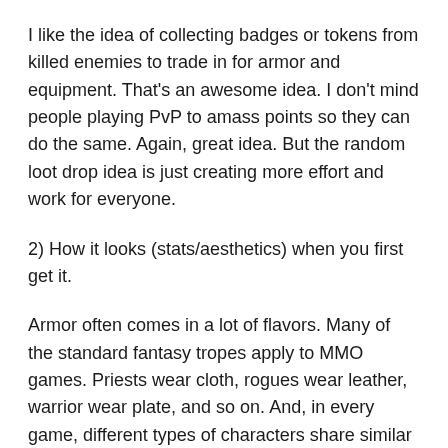I like the idea of collecting badges or tokens from killed enemies to trade in for armor and equipment. That's an awesome idea. I don't mind people playing PvP to amass points so they can do the same. Again, great idea. But the random loot drop idea is just creating more effort and work for everyone.
2) How it looks (stats/aesthetics) when you first get it.
Armor often comes in a lot of flavors. Many of the standard fantasy tropes apply to MMO games. Priests wear cloth, rogues wear leather, warrior wear plate, and so on. And, in every game, different types of characters share similar armor types. In WoW, for example, shaman and hunters both wear mail armor, and paladins and warriors wear plate armor. And when the gear comes with magical properties on it, it creates arguments and